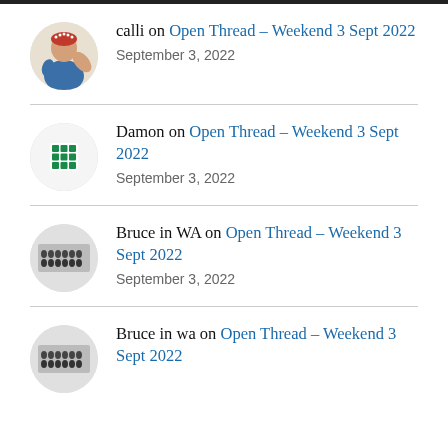calli on Open Thread – Weekend 3 Sept 2022
September 3, 2022
Damon on Open Thread – Weekend 3 Sept 2022
September 3, 2022
Bruce in WA on Open Thread – Weekend 3 Sept 2022
September 3, 2022
Bruce in wa on Open Thread – Weekend 3 Sept 2022